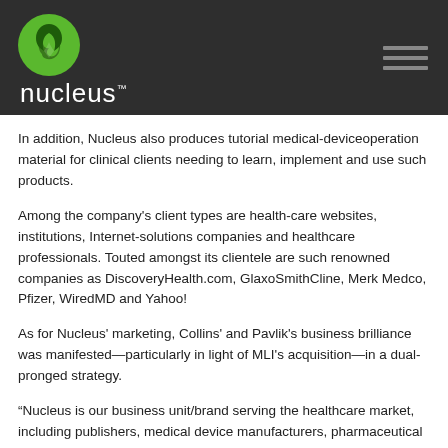[Figure (logo): Nucleus logo with green leaf icon and white 'nucleus' wordmark on dark grey header background, with hamburger menu icon on the right]
In addition, Nucleus also produces tutorial medical-device operation material for clinical clients needing to learn, implement and use such products.
Among the company's client types are health-care websites, institutions, Internet-solutions companies and healthcare professionals. Touted amongst its clientele are such renowned companies as DiscoveryHealth.com, GlaxoSmithCline, Merk Medco, Pfizer, WiredMD and Yahoo!
As for Nucleus' marketing, Collins' and Pavlik's business brilliance was manifested—particularly in light of MLI's acquisition—in a dual-pronged strategy.
“Nucleus is our business unit/brand serving the healthcare market, including publishers, medical device manufacturers, pharmaceutical companies, hospitals, etc.,” explains Collins. “Medical Legal Art (MLA) is a business unit/brand for the legal market, including lawyers, insurance companies, paralegals, and legal nurse consultants.